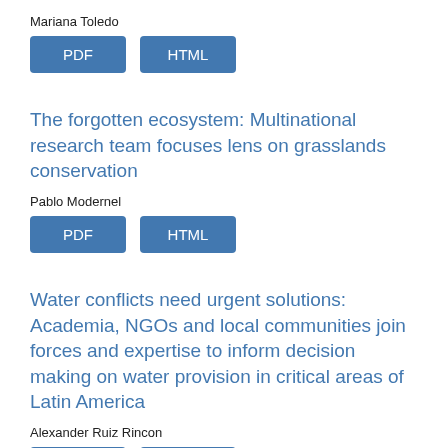Mariana Toledo
PDF   HTML
The forgotten ecosystem: Multinational research team focuses lens on grasslands conservation
Pablo Modernel
PDF   HTML
Water conflicts need urgent solutions: Academia, NGOs and local communities join forces and expertise to inform decision making on water provision in critical areas of Latin America
Alexander Ruiz Rincon
PDF   HTML
Technical Note